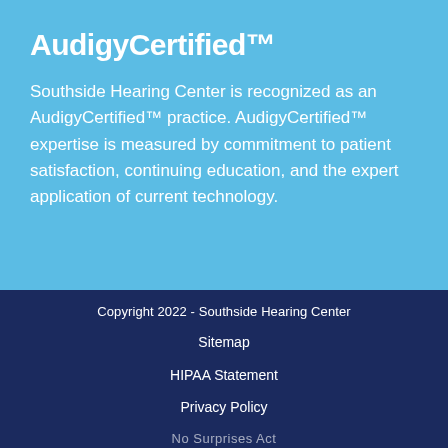AudigyCertified™
Southside Hearing Center is recognized as an AudigyCertified™ practice. AudigyCertified™ expertise is measured by commitment to patient satisfaction, continuing education, and the expert application of current technology.
Copyright 2022 - Southside Hearing Center
Sitemap
HIPAA Statement
Privacy Policy
No Surprises Act
Request Appointment